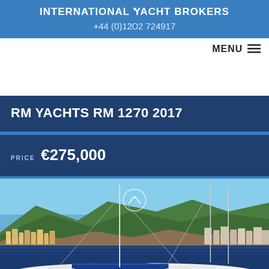INTERNATIONAL YACHT BROKERS
+44 (0)1202 724917
RM YACHTS RM 1270 2017
PRICE €275,000
[Figure (photo): Yacht in a Mediterranean harbour with hillside town and mountains in background, blue sky. The yacht has a navy blue boom cover and tall mast.]